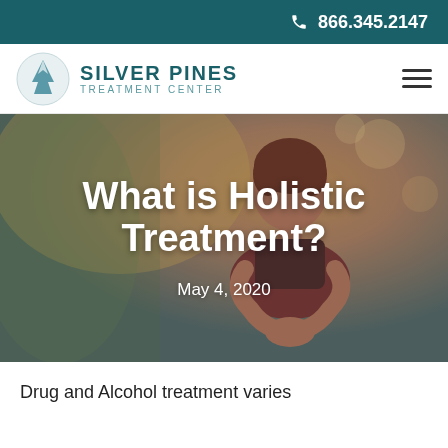866.345.2147
[Figure (logo): Silver Pines Treatment Center logo with pine tree icon]
[Figure (photo): Woman in yoga prayer pose with eyes closed, used as hero background image for article about holistic treatment]
What is Holistic Treatment?
May 4, 2020
Drug and Alcohol treatment varies